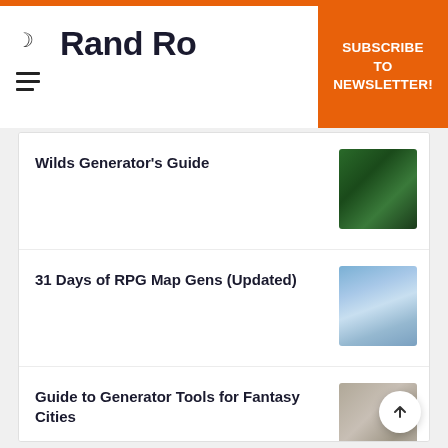Rand Ro[lls]
SUBSCRIBE TO NEWSLETTER!
Wilds Generator's Guide
31 Days of RPG Map Gens (Updated)
Guide to Generator Tools for Fantasy Cities
Interview with Tamzin and Matt of Untold Encounters